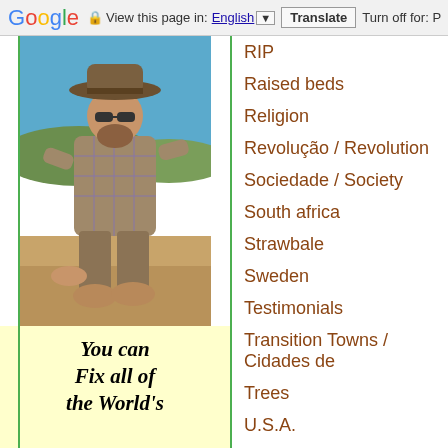Google | View this page in: English | Translate | Turn off for: P
[Figure (photo): Man in a wide-brimmed hat and plaid shirt crouching outdoors in a desert/arid environment.]
You can Fix all of the World's
RIP
Raised beds
Religion
Revolução / Revolution
Sociedade / Society
South africa
Strawbale
Sweden
Testimonials
Transition Towns / Cidades de
Trees
U.S.A.